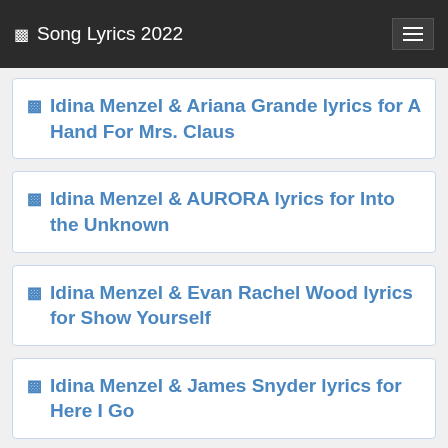🎵 Song Lyrics 2022
🎵 Idina Menzel & Ariana Grande lyrics for A Hand For Mrs. Claus
🎵 Idina Menzel & AURORA lyrics for Into the Unknown
🎵 Idina Menzel & Evan Rachel Wood lyrics for Show Yourself
🎵 Idina Menzel & James Snyder lyrics for Here I Go